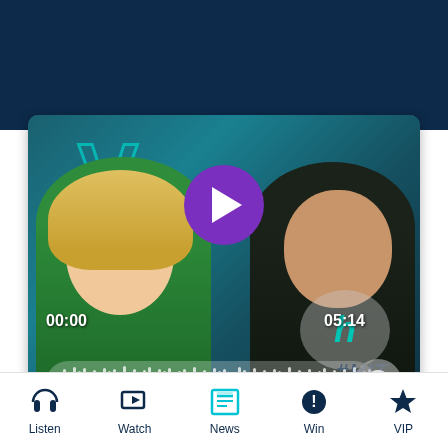[Figure (screenshot): Video player showing two radio hosts (blonde woman in green top and man in black shirt) with a purple play button overlay, waveform scrubber, timestamps 00:00 and 05:14, and Hit Network logo]
Download the Hit Network app on iOS and
Listen  Watch  News  Win  VIP